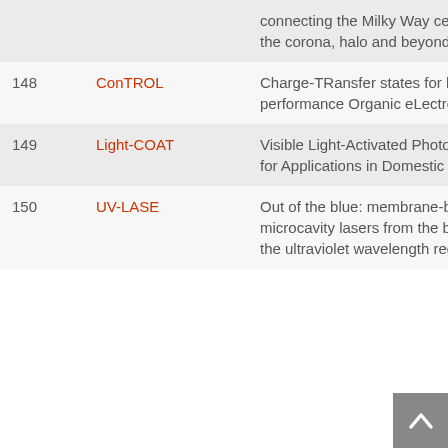| # | Project | Description |
| --- | --- | --- |
|  |  | connecting the Milky Way centre to the corona, halo and beyond |
| 148 | ConTROL | Charge-TRansfer states for high-performance Organic eLectronics |
| 149 | Light-COAT | Visible Light-Activated Photoinitiators for Applications in Domestic Coatings |
| 150 | UV-LASE | Out of the blue: membrane-based microcavity lasers from the blue to the ultraviolet wavelength regime |